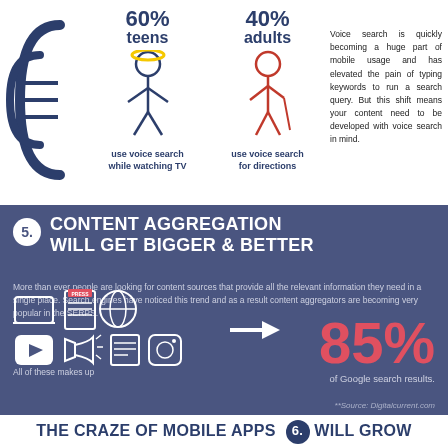[Figure (infographic): Voice search statistics: 60% teens use voice search while watching TV, 40% adults use voice search for directions, with icons of people and sound waves]
Voice search is quickly becoming a huge part of mobile usage and has elevated the pain of typing keywords to run a search query. But this shift means your content need to be developed with voice search in mind.
[Figure (infographic): Section 5: Content Aggregation Will Get Bigger & Better. Icons of laptop, press release, globe, play button, megaphone, newspaper, Instagram. 85% of Google search results stat. Source: Digitalcurrent.com]
THE CRAZE OF MOBILE APPS WILL GROW